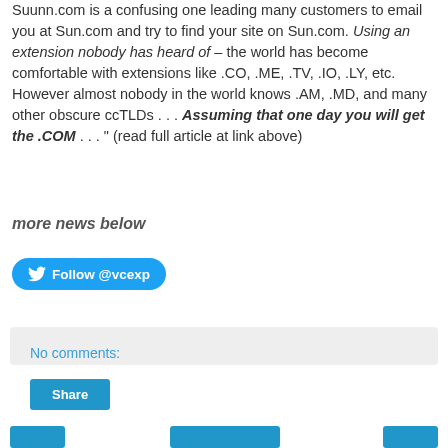Suunn.com is a confusing one leading many customers to email you at Sun.com and try to find your site on Sun.com. Using an extension nobody has heard of – the world has become comfortable with extensions like .CO, .ME, .TV, .IO, .LY, etc. However almost nobody in the world knows .AM, .MD, and many other obscure ccTLDs . . . Assuming that one day you will get the .COM . . . " (read full article at link above)
more news below
[Figure (other): Twitter Follow @vcexp button]
No comments:
[Figure (other): Share button]